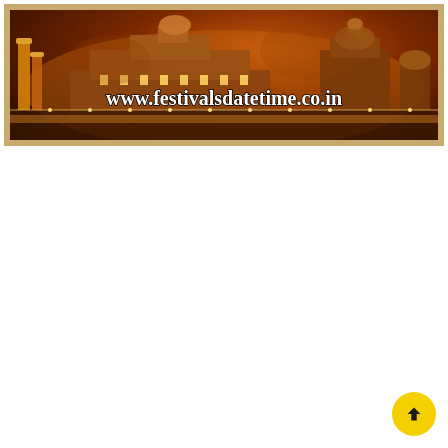[Figure (photo): Banner image showing illuminated Indian palace/temple at night with warm orange/amber sky. Text overlay reads 'www.festivalsdatetime.co.in'. Image has a decorative golden/tan frame border.]